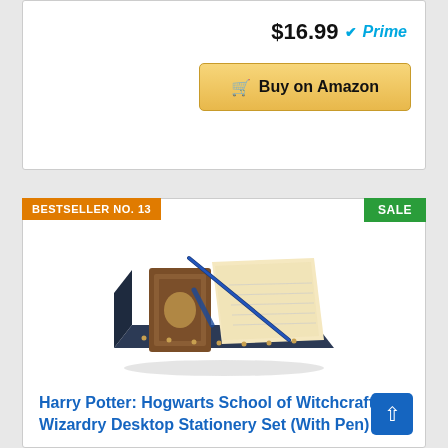$16.99 Prime
Buy on Amazon
BESTSELLER NO. 13
SALE
[Figure (photo): Harry Potter Hogwarts Desktop Stationery Set product photo showing box with journal and writing materials]
Harry Potter: Hogwarts School of Witchcraft and Wizardry Desktop Stationery Set (With Pen)
Language: English
Item Weight: 390g
Dimensions: 22.23 x 3.81 x 16.08 cm
Hardcover Book
Insight Editions (Author)